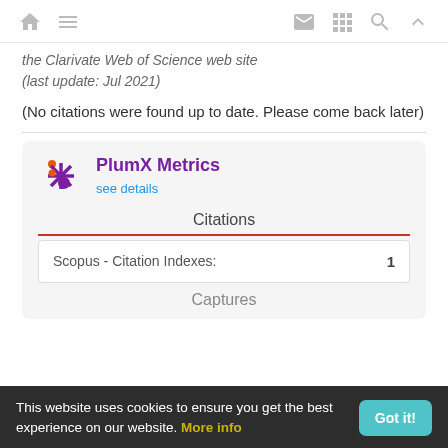Navigation bar with home, menu, mail, grid, search, and up icons
the Clarivate Web of Science web site
(last update: Jul 2021)
(No citations were found up to date. Please come back later)
[Figure (infographic): PlumX Metrics widget card showing PlumX logo, title 'PlumX Metrics', a 'see details' link, a Citations section with an orange divider, a table row showing 'Scopus - Citation Indexes: 1', and a partially visible Captures section]
This website uses cookies to ensure you get the best experience on our website. More info